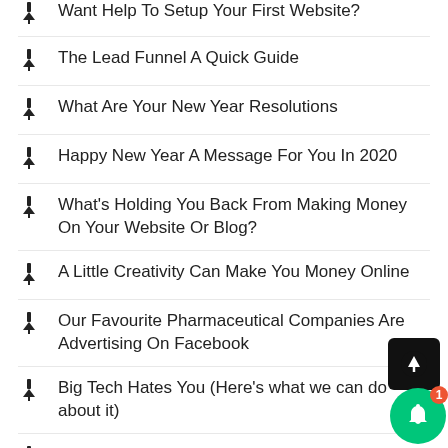The Lead Funnel A Quick Guide
What Are Your New Year Resolutions
Happy New Year A Message For You In 2020
What's Holding You Back From Making Money On Your Website Or Blog?
A Little Creativity Can Make You Money Online
Our Favourite Pharmaceutical Companies Are Advertising On Facebook
Big Tech Hates You (Here's what we can do about it)
What Digital Marketing Products Should I Buy